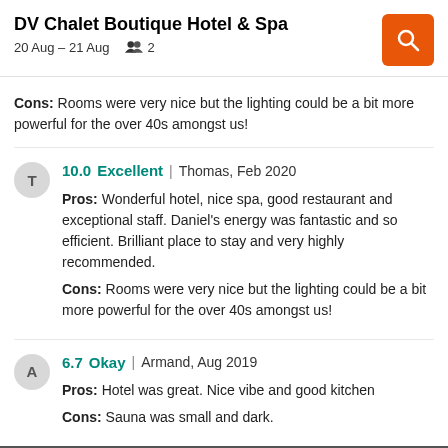DV Chalet Boutique Hotel & Spa | 20 Aug – 21 Aug  2
Cons: Rooms were very nice but the lighting could be a bit more powerful for the over 40s amongst us!
10.0 Excellent | Thomas, Feb 2020
Pros: Wonderful hotel, nice spa, good restaurant and exceptional staff. Daniel's energy was fantastic and so efficient. Brilliant place to stay and very highly recommended.
Cons: Rooms were very nice but the lighting could be a bit more powerful for the over 40s amongst us!
6.7 Okay | Armand, Aug 2019
Pros: Hotel was great. Nice vibe and good kitchen
Cons: Sauna was small and dark.
More reviews